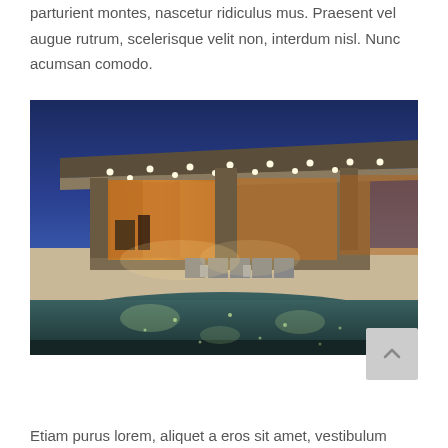parturient montes, nascetur ridiculus mus. Praesent vel augue rutrum, scelerisque velit non, interdum nisl. Nunc acumsan comodo.
[Figure (photo): Night-time exterior photo of a modern luxury home with a large flat roof overhang, recessed lights in the ceiling, floor-to-ceiling glass walls with warm interior lighting, patio chairs arranged near a pool, with reflections of the lights visible in the still pool water and a deep blue twilight sky in the background.]
Etiam purus lorem, aliquet a eros sit amet, vestibulum